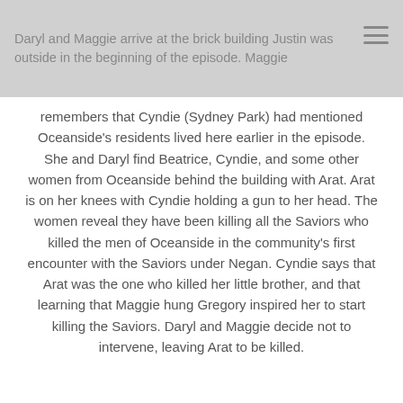Daryl and Maggie arrive at the brick building Justin was outside in the beginning of the episode. Maggie
remembers that Cyndie (Sydney Park) had mentioned Oceanside's residents lived here earlier in the episode. She and Daryl find Beatrice, Cyndie, and some other women from Oceanside behind the building with Arat. Arat is on her knees with Cyndie holding a gun to her head. The women reveal they have been killing all the Saviors who killed the men of Oceanside in the community's first encounter with the Saviors under Negan. Cyndie says that Arat was the one who killed her little brother, and that learning that Maggie hung Gregory inspired her to start killing the Saviors. Daryl and Maggie decide not to intervene, leaving Arat to be killed.